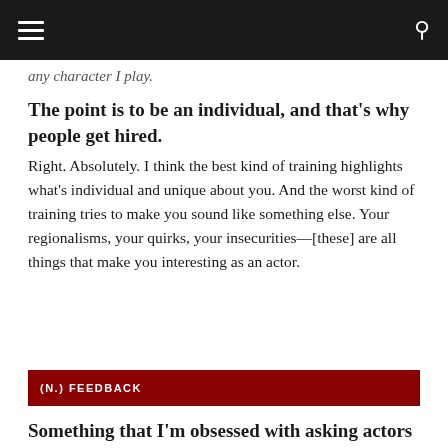≡  🔍
any character I play.
The point is to be an individual, and that's why people get hired.
Right. Absolutely. I think the best kind of training highlights what's individual and unique about you. And the worst kind of training tries to make you sound like something else. Your regionalisms, your quirks, your insecurities—[these] are all things that make you interesting as an actor.
(n.) FEEDBACK
Something that I'm obsessed with asking actors about is, in an industry where you're always being